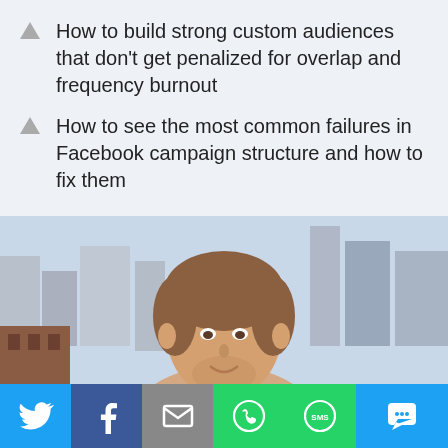How to build strong custom audiences that don't get penalized for overlap and frequency burnout
How to see the most common failures in Facebook campaign structure and how to fix them
[Figure (photo): Portrait photo of a young man with light brown hair, smiling, with an urban city skyline in the background (buildings, downtown area, blue sky).]
[Figure (infographic): Social sharing bar at the bottom with icons: Twitter (blue), Facebook (dark blue), Email (gray), WhatsApp (green), SMS (green), Chat (blue).]